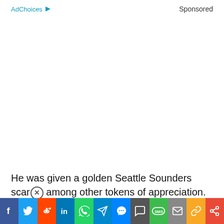AdChoices ▷   Sponsored
He was given a golden Seattle Sounders scar[x] among other tokens of appreciation. He was joined
[Figure (other): Social media share bar with icons: Facebook, Twitter, Reddit, LinkedIn, WhatsApp, Telegram, Messenger, Comments, SMS, Email, Copy link, Share]